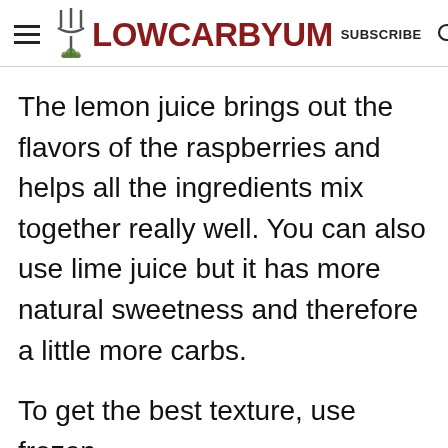LOW CARB YUM — SUBSCRIBE
The lemon juice brings out the flavors of the raspberries and helps all the ingredients mix together really well. You can also use lime juice but it has more natural sweetness and therefore a little more carbs.
To get the best texture, use frozen